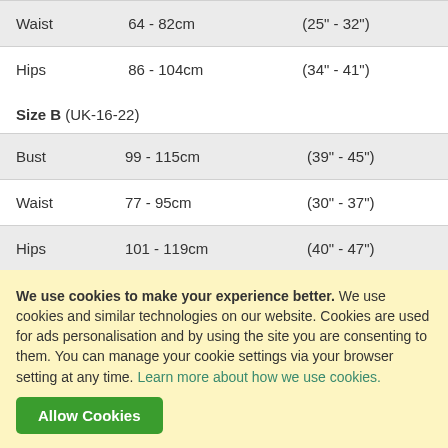| Measurement | CM | Inches |
| --- | --- | --- |
| Waist | 64 - 82cm | (25" - 32") |
| Hips | 86 - 104cm | (34" - 41") |
Size B (UK-16-22)
| Measurement | CM | Inches |
| --- | --- | --- |
| Bust | 99 - 115cm | (39" - 45") |
| Waist | 77 - 95cm | (30" - 37") |
| Hips | 101 - 119cm | (40" - 47") |
We use cookies to make your experience better. We use cookies and similar technologies on our website. Cookies are used for ads personalisation and by using the site you are consenting to them. You can manage your cookie settings via your browser setting at any time. Learn more about how we use cookies.